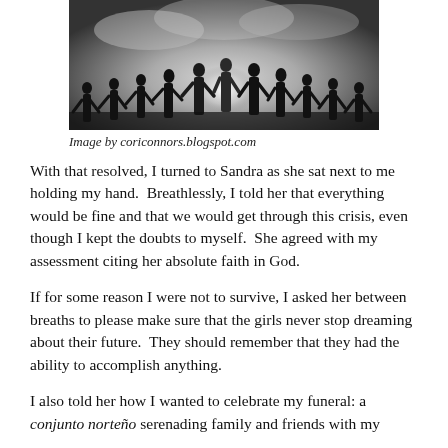[Figure (photo): Black and white photograph of a group of people holding hands in a circle, silhouetted against a bright sky.]
Image by coriconnors.blogspot.com
With that resolved, I turned to Sandra as she sat next to me holding my hand.  Breathlessly, I told her that everything would be fine and that we would get through this crisis, even though I kept the doubts to myself.  She agreed with my assessment citing her absolute faith in God.
If for some reason I were not to survive, I asked her between breaths to please make sure that the girls never stop dreaming about their future.  They should remember that they had the ability to accomplish anything.
I also told her how I wanted to celebrate my funeral: a conjunto norteño serenading family and friends with my